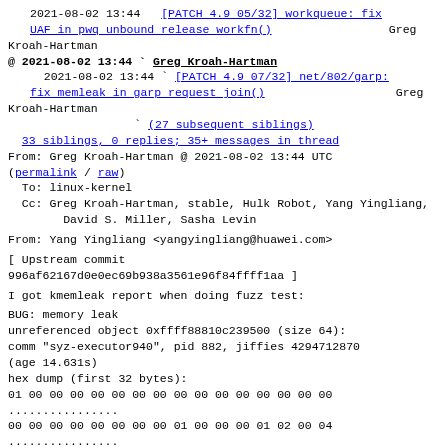2021-08-02 13:44   [PATCH 4.9 05/32] workqueue: fix UAF in pwq unbound release workfn() Greg Kroah-Hartman
@ 2021-08-02 13:44  Greg Kroah-Hartman
2021-08-02 13:44   [PATCH 4.9 07/32] net/802/garp: fix memleak in garp request join() Greg Kroah-Hartman
(27 subsequent siblings)
33 siblings, 0 replies; 35+ messages in thread
From: Greg Kroah-Hartman @ 2021-08-02 13:44 UTC (permalink / raw)
To: linux-kernel
Cc: Greg Kroah-Hartman, stable, Hulk Robot, Yang Yingliang, David S. Miller, Sasha Levin
From: Yang Yingliang <yangyingliang@huawei.com>
[ Upstream commit 996af62167d0e0ec69b938a3561e96f84ffff1aa ]
I got kmemleak report when doing fuzz test:
BUG: memory leak
unreferenced object 0xffff88810c239500 (size 64):
comm "syz-executor940", pid 882, jiffies 4294712870 (age 14.631s)
hex dump (first 32 bytes):
01 00 00 00 00 00 00 00 00 00 00 00 00 00 00 00
................
00 00 00 00 00 00 00 00 01 00 00 00 01 02 00 04
................